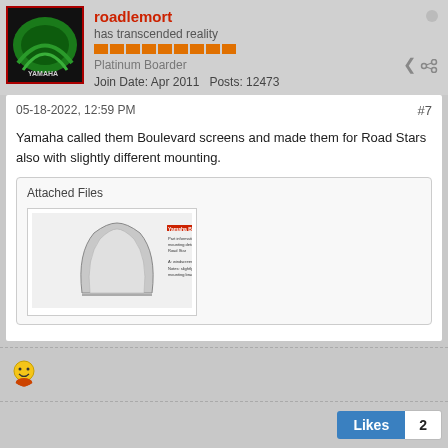roadlemort
has transcended reality
Platinum Boarder
Join Date: Apr 2011   Posts: 12473
05-18-2022, 12:59 PM
#7
Yamaha called them Boulevard screens and made them for Road Stars also with slightly different mounting.
Attached Files
[Figure (photo): Thumbnail image of a windscreen document with a windshield diagram and text]
Likes   2
Father Pobasturd
has transcended reality